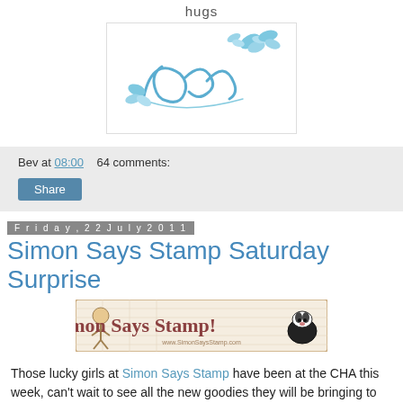hugs
[Figure (illustration): Stylized signature 'Bev' with blue butterflies on white background with border]
Bev at 08:00   64 comments:
Share
Friday, 22 July 2011
Simon Says Stamp Saturday Surprise
[Figure (logo): Simon Says Stamp! banner logo with cartoon figures and dog]
Those lucky girls at Simon Says Stamp have been at the CHA this week, can't wait to see all the new goodies they will be bringing to the store, I'm drooling at the thought lol.  In the